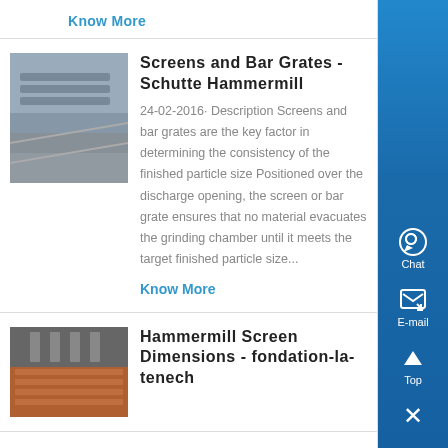Know More
[Figure (photo): Industrial conveyor/screen machine photo]
Screens and Bar Grates - Schutte Hammermill
24-02-2016· Description Screens and bar grates are the key factor in determining the consistency of the finished particle size Positioned over the discharge opening, the screen or bar grate ensures that no material evacuates the grinding chamber until it meets the target finished particle size...
Know More
[Figure (photo): Hammermill screen interior with orange/red screen surfaces]
Hammermill Screen Dimensions - fondation-la-tenech